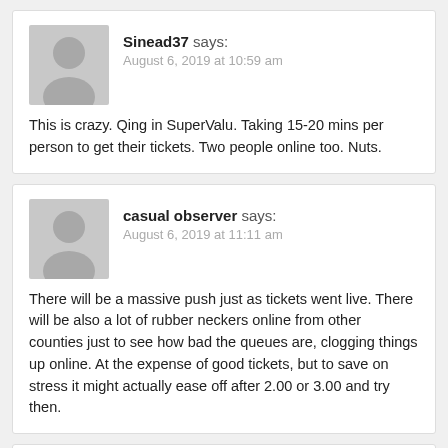Sinead37 says:
August 6, 2019 at 10:59 am

This is crazy. Qing in SuperValu. Taking 15-20 mins per person to get their tickets. Two people online too. Nuts.
casual observer says:
August 6, 2019 at 11:11 am

There will be a massive push just as tickets went live. There will be also a lot of rubber neckers online from other counties just to see how bad the queues are, clogging things up online. At the expense of good tickets, but to save on stress it might actually ease off after 2.00 or 3.00 and try then.